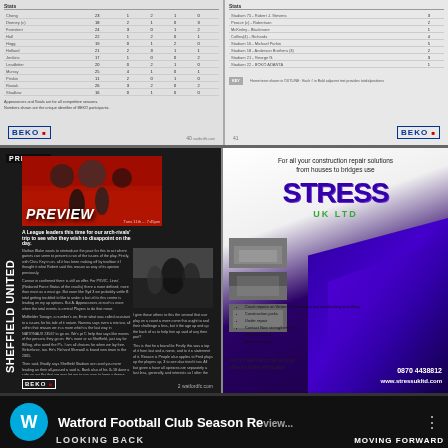[Figure (screenshot): Top strip showing two pages of football statistics with BEKO branding at bottom left and right, containing player stats tables]
[Figure (screenshot): Sheffield United match preview page spread — left page has dark background with 'SHEFFIELD UNITED' vertical text and 'PREVIEW' heading over action photo; right page is STRESS UK LTD construction repair solutions advertisement with purple diagonal design]
[Figure (screenshot): Bottom strip showing Watford Football Club Season Review YouTube video thumbnail with 'LOOKING BACK - MOVING FORWARD' text]